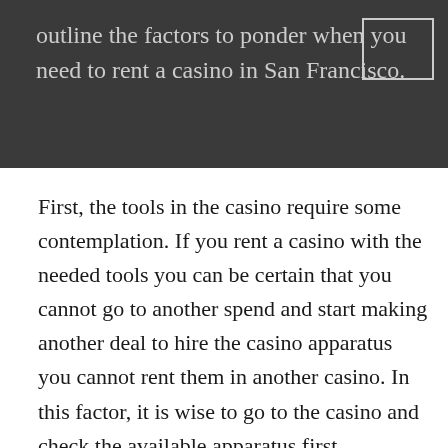outline the factors to ponder when you need to rent a casino in San Francisco.
First, the tools in the casino require some contemplation. If you rent a casino with the needed tools you can be certain that you cannot go to another spend and start making another deal to hire the casino apparatus you cannot rent them in another casino. In this factor, it is wise to go to the casino and check the available apparatus first.
Again, when renting a casino you need to put some contemplation on the number of guests you expect. The number of people determines the size of the casino that you need to rent. For example, if you have invited many people and sure they will come you need to rent a large casino and if a number of guests are...